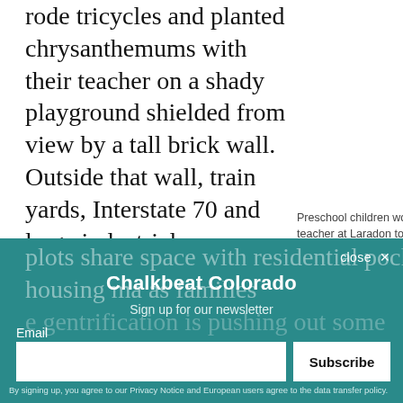rode tricycles and planted chrysanthemums with their teacher on a shady playground shielded from view by a tall brick wall. Outside that wall, train yards, Interstate 70 and large industrial
Preschool children work with their teacher at Laradon to plant flowers during the first week of classes.  |  Ann Schimke | Chalkbeat
plots share space with residential pockets housing ma... ...as families ...e gentrification is pushing out some ...Chalkbeat... ...an area...
Chalkbeat Colorado
Sign up for our newsletter
Email
Subscribe
By signing up, you agree to our Privacy Notice and European users agree to the data transfer policy.